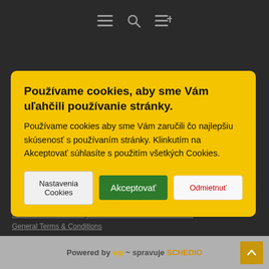[Figure (screenshot): Website navigation bar with hamburger menu, search, and reading list icons on dark background]
Kup si ovocie
O dôvod viac ochutnať
Používame cookies, aby sme Vám uľahčili používanie stránky. Používame cookies aby sme Vám zaručili čo najlepšiu skúsenosť s používaním stránky. Klinkutím na Akceptovať súhlasíte s použitím všetkých Cookies.
Nastavenia Cookies
Akceptovať
Odmietnuť
Principles of Processing and Protection of Personal Data
General Terms & Conditions
Powered by wp ~ spravuje SCHEDIO